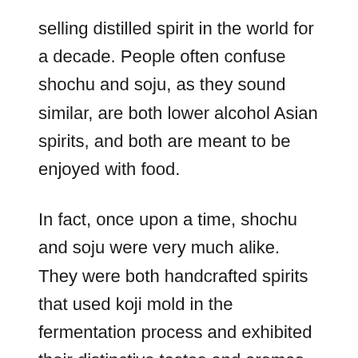selling distilled spirit in the world for a decade. People often confuse shochu and soju, as they sound similar, are both lower alcohol Asian spirits, and both are meant to be enjoyed with food.
In fact, once upon a time, shochu and soju were very much alike.  They were both handcrafted spirits that used koji mold in the fermentation process and exhibited their distinctive tastes and aromas based on core ingredients. However, what most people know as soju today is different from its old school form and consequently very different from shochu, which remains a handcrafted product.